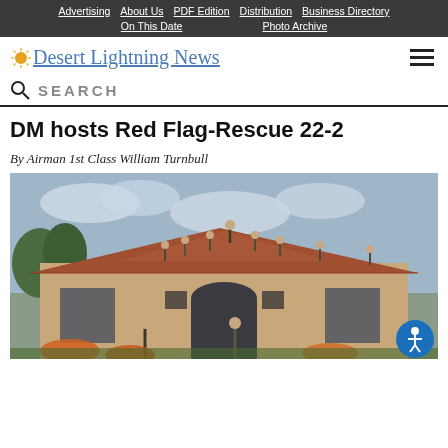Advertising | About Us | PDF Edition | Distribution | Business Directory | On This Date | Photo Archive
Desert Lightning News
SEARCH
DM hosts Red Flag-Rescue 22-2
By Airman 1st Class William Turnbull
[Figure (photo): Military personnel standing on the roof of a tan/beige stucco building with a red-tiled roof. Two soldiers are visible on the ground level near the building entrance. Orange flowering plants are visible in the foreground.]